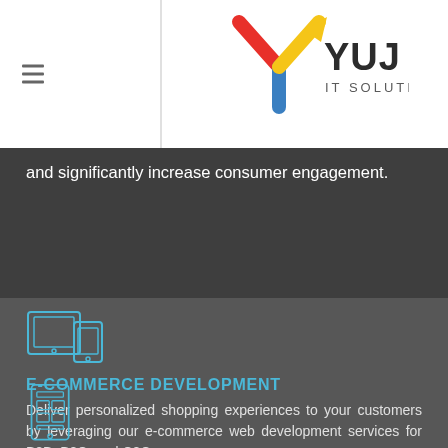[Figure (logo): YUJ IT Solutions logo with colorful Y arrow mark and hamburger menu icon]
and significantly increase consumer engagement.
[Figure (illustration): Icon of multiple device screens (tablet and phone) outlined in blue]
E-COMMERCE DEVELOPMENT
Deliver personalized shopping experiences to your customers by leveraging our e-commerce web development services for B2B, B2C, and C2C.
[Figure (illustration): Icon of a mobile phone with content/app layout outlined in blue]
ENTERPRISE WEB APPLICATIONS
Increase the operational efficiency of your enterprise